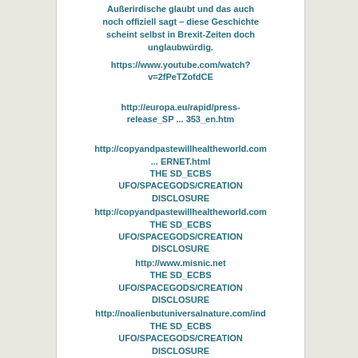Außerirdische glaubt und das auch noch offiziell sagt – diese Geschichte scheint selbst in Brexit-Zeiten doch unglaubwürdig.
https://www.youtube.com/watch?v=2fPeTZofdCE
http://europa.eu/rapid/press-release_SP ... 353_en.htm
http://copyandpastewillhealtheworld.com ... ERNET.html
THE SD_ECBS
UFO/SPACEGODS/CREATION
DISCLOSURE
http://copyandpastewillhealtheworld.com
THE SD_ECBS
UFO/SPACEGODS/CREATION
DISCLOSURE
http://www.misnic.net
THE SD_ECBS
UFO/SPACEGODS/CREATION
DISCLOSURE
http://noalienbutuniversalnature.com/ind
THE SD_ECBS
UFO/SPACEGODS/CREATION
DISCLOSURE